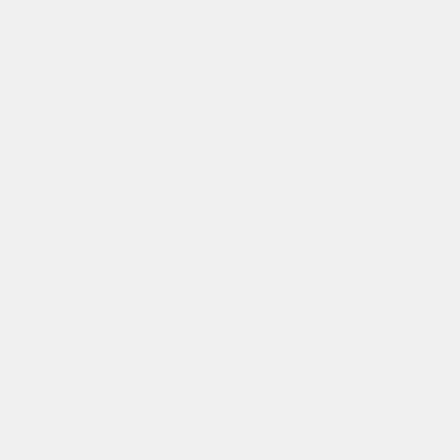nearity then yes I agree , or at least a reason an example , I am not being ungrateful and appreciate the input, but too many red herrings is a bit confusing , it happens in the pottery as well so it's not unique , from what iv'e gathered so far there does seem to be more of this type of glass in scotland than elsewhere , maybe coincidence 😟
Mon May 16, 2011 2:16 pm by Nic
To explain the volume of it up north... a lot of the glassworkers from the Vasart factory went on to open their own small studios and still continue to pump out very similar wares - because it's commercial and has become exactly what people expect of Scottish glass.
Home  Last  Log in